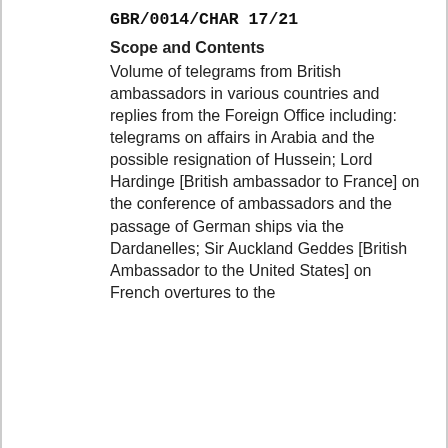GBR/0014/CHAR 17/21
Scope and Contents
Volume of telegrams from British ambassadors in various countries and replies from the Foreign Office including: telegrams on affairs in Arabia and the possible resignation of Hussein; Lord Hardinge [British ambassador to France] on the conference of ambassadors and the passage of German ships via the Dardanelles; Sir Auckland Geddes [British Ambassador to the United States] on French overtures to the